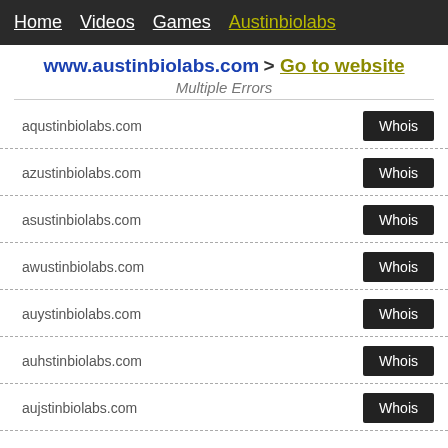Home  Videos  Games  Austinbiolabs
www.austinbiolabs.com > Go to website
Multiple Errors
aqustinbiolabs.com  Whois
azustinbiolabs.com  Whois
asustinbiolabs.com  Whois
awustinbiolabs.com  Whois
auystinbiolabs.com  Whois
auhstinbiolabs.com  Whois
aujstinbiolabs.com  Whois